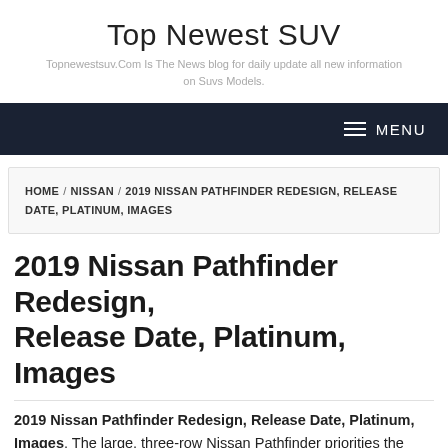Top Newest SUV
Topnewestsuv.Com Is The News blog for daily update all new information on Suvs Models.
[Figure (other): Dark navy navigation bar with hamburger menu icon and MENU text on the right side]
HOME / NISSAN / 2019 NISSAN PATHFINDER REDESIGN, RELEASE DATE, PLATINUM, IMAGES
2019 Nissan Pathfinder Redesign, Release Date, Platinum, Images
2019 Nissan Pathfinder Redesign, Release Date, Platinum, Images. The large, three-row Nissan Pathfinder priorities the functionality for the large families and combines it with the good balance of quality and power. The model can seat seven and the powerful engine also provides plenty of